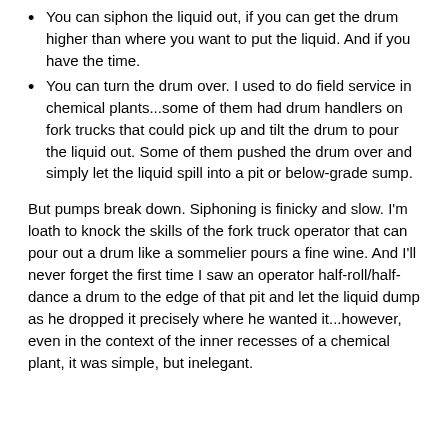You can siphon the liquid out, if you can get the drum higher than where you want to put the liquid.  And if you have the time.
You can turn the drum over.  I used to do field service in chemical plants...some of them had drum handlers on fork trucks that could pick up and tilt the drum to pour the liquid out.  Some of them pushed the drum over and simply let the liquid spill into a pit or below-grade sump.
But pumps break down.  Siphoning is finicky and slow.  I'm loath to knock the skills of the fork truck operator that can pour out a drum like a sommelier pours a fine wine.  And I'll never forget the first time I saw an operator half-roll/half-dance a drum to the edge of that pit and let the liquid dump as he dropped it precisely where he wanted it...however, even in the context of the inner recesses of a chemical plant, it was simple, but inelegant.